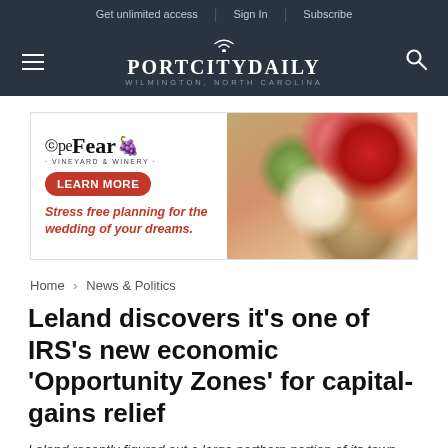Get unlimited access | Sign In | Subscribe
[Figure (logo): Port City Daily logo — hamburger menu icon on left, PortCityDaily Wilmington North Carolina wordmark in center, search icon on right, on dark navy background]
[Figure (illustration): Cape Fear Vineyard & Winery advertisement banner: logo on left with 'Learn More' red button, tagline 'Stress free planning for the wedding of your dreams.' in red italic, floral arrangement photo on right]
Home › News & Politics
Leland discovers it's one of IRS's new economic 'Opportunity Zones' for capital-gains relief
Leland recently figured out a large northern portion of its town limits